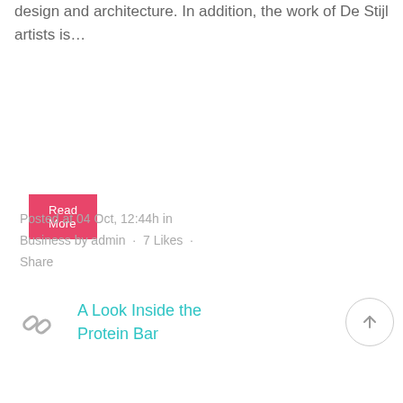design and architecture. In addition, the work of De Stijl artists is...
Read More
Posted at 04 Oct, 12:44h in Business by admin . 7 Likes . Share
A Look Inside the Protein Bar